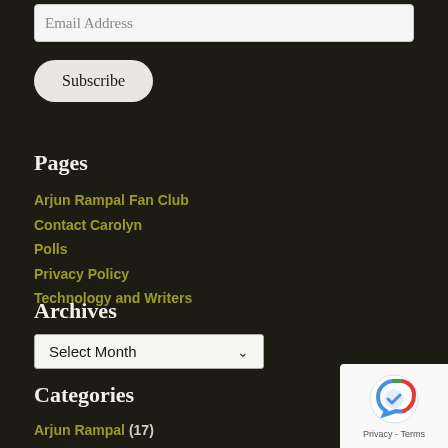Email Address
Subscribe
Pages
Arjun Rampal Fan Club
Contact Carolyn
Polls
Privacy Policy
Technology and Writers
Archives
Select Month
Categories
Arjun Rampal (17)
Authors (109)
Baking (17)
Blogging (28)
Book Reviews (50)
Books (437)
[Figure (logo): reCAPTCHA badge with robot icon and Privacy - Terms text]